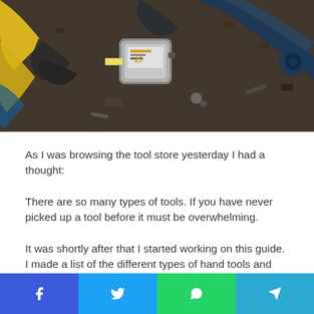[Figure (photo): Overhead photo of hand tools including yellow wire cutters, a tape measure, wrenches, and pliers on a dark surface]
As I was browsing the tool store yesterday I had a thought:
There are so many types of tools. If you have never picked up a tool before it must be overwhelming.
It was shortly after that I started working on this guide. I made a list of the different types of hand tools and their uses.
This guide is made for the complete beginner.
Contents
[Figure (infographic): Social media sharing bar with Facebook, Twitter, WhatsApp, and Telegram buttons]